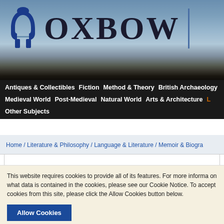[Figure (screenshot): Oxbow Books website header with logo (blue horseshoe icon and OXBOW text) against a sky/landscape background]
Antiques & Collectibles   Fiction   Method & Theory   British Archaeology   Medieval World   Post-Medieval   Natural World   Arts & Architecture   L   Other Subjects
Home / Literature & Philosophy / Language & Literature / Memoir & Biogra
Michael Curti
This website requires cookies to provide all of its features. For more informa on what data is contained in the cookies, please see our Cookie Notice. To accept cookies from this site, please click the Allow Cookies button below.
Allow Cookies